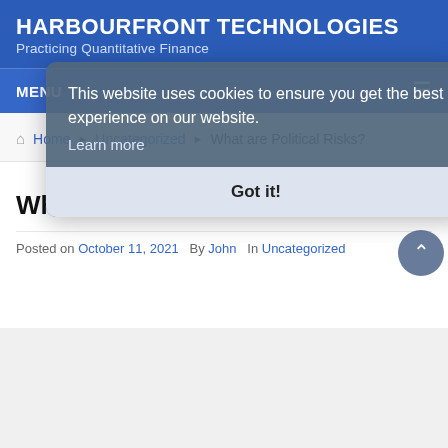HARBOURFRONT TECHNOLOGIES
Practicing Quantitative Finance
MENU
Home › Uncategorized › What are Political Risks?
This website uses cookies to ensure you get the best experience on our website. Learn more
Got it!
What are Political Risks?
Posted on October 11, 2021  By John  In Uncategorized